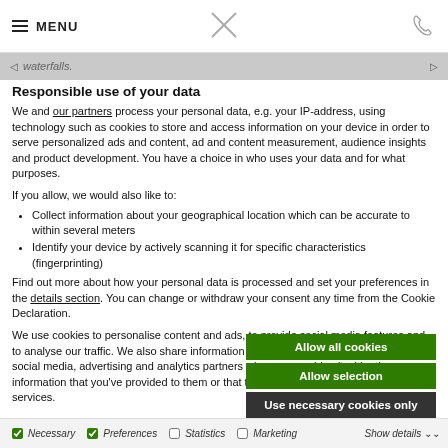≡ MENU
waterfalls.
Responsible use of your data
We and our partners process your personal data, e.g. your IP-address, using technology such as cookies to store and access information on your device in order to serve personalized ads and content, ad and content measurement, audience insights and product development. You have a choice in who uses your data and for what purposes.
If you allow, we would also like to:
Collect information about your geographical location which can be accurate to within several meters
Identify your device by actively scanning it for specific characteristics (fingerprinting)
Find out more about how your personal data is processed and set your preferences in the details section. You can change or withdraw your consent any time from the Cookie Declaration.
We use cookies to personalise content and ads, to provide social media features and to analyse our traffic. We also share information about your use of our site with our social media, advertising and analytics partners who may combine it with other information that you've provided to them or that they've collected from your use of their services.
Allow all cookies
Allow selection
Use necessary cookies only
Necessary  Preferences  Statistics  Marketing  Show details